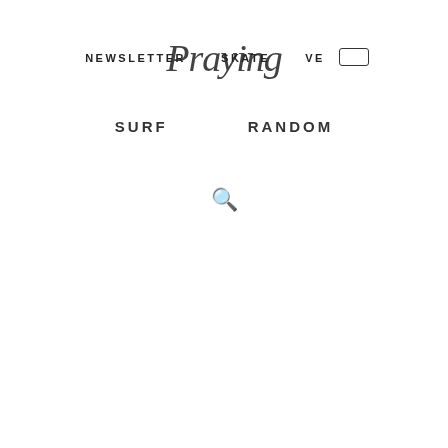NEWSLETTER  SKATE  [instagram]
[Figure (logo): Handwritten script logo overlapping the navigation bar]
SURF    RANDOM
🔍